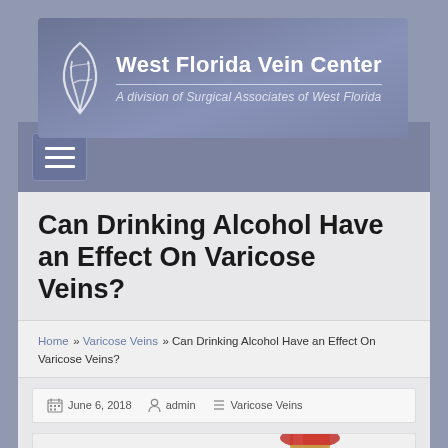[Figure (logo): West Florida Vein Center logo with stylized vein/leaf graphic on left and text on right including tagline 'A division of Surgical Associates of West Florida']
[Figure (screenshot): Navigation hamburger menu button (three horizontal white lines on dark blue-grey square background)]
Can Drinking Alcohol Have an Effect On Varicose Veins?
Home » Varicose Veins » Can Drinking Alcohol Have an Effect On Varicose Veins?
June 6, 2018   admin   Varicose Veins
[Figure (photo): Partial image of a red wine glass or bottle at bottom of page]